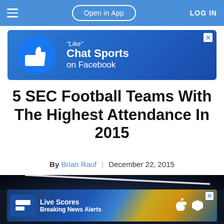Open in App | LOG IN
[Figure (screenshot): Advertisement banner: 'Like' Chat Sports on Facebook with thumbs up icon on blue background]
5 SEC Football Teams With The Highest Attendance In 2015
By Brian Rauf | December 22, 2015
[Figure (photo): Night aerial view of a packed football stadium with lights]
[Figure (screenshot): Advertisement overlay: Live Scores Breaking News Alerts app with Apple and Android icons]